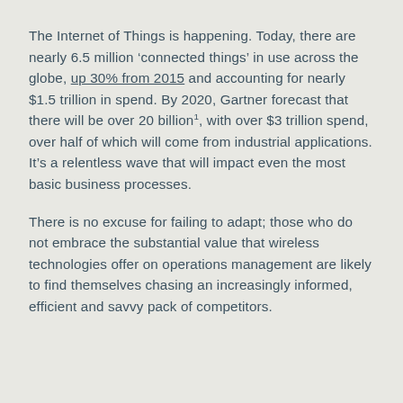The Internet of Things is happening. Today, there are nearly 6.5 million ‘connected things’ in use across the globe, up 30% from 2015 and accounting for nearly $1.5 trillion in spend. By 2020, Gartner forecast that there will be over 20 billion¹, with over $3 trillion spend, over half of which will come from industrial applications. It’s a relentless wave that will impact even the most basic business processes.
There is no excuse for failing to adapt; those who do not embrace the substantial value that wireless technologies offer on operations management are likely to find themselves chasing an increasingly informed, efficient and savvy pack of competitors.